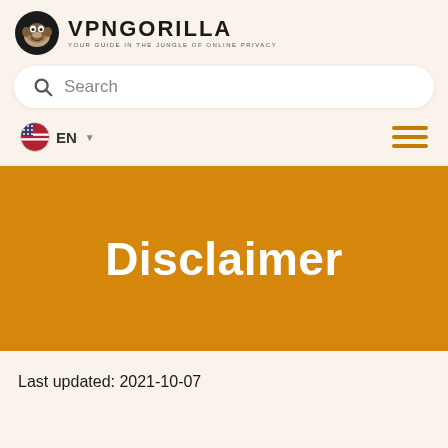[Figure (logo): VPNGorilla logo with gorilla icon and tagline: YOUR GUIDE IN THE JUNGLE OF ONLINE PRIVACY]
[Figure (other): Search bar with magnifying glass icon and placeholder text 'Search']
[Figure (other): Navigation row with US flag EN language selector and hamburger menu icon in orange]
Disclaimer
Last updated: 2021-10-07